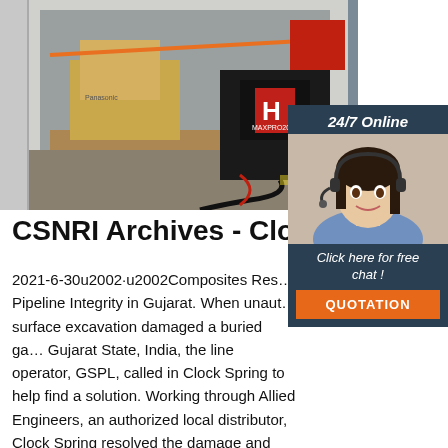[Figure (photo): Shipping container open showing industrial equipment including boxes, cables, and a Hypertherm MAXPRO200 plasma cutting machine loaded inside.]
[Figure (photo): Customer service representative wearing headset, smiling, with 24/7 Online chat widget overlay including a QUOTATION button.]
CSNRI Archives - ClockSp…
2021-6-30u2002·u2002Composites Res… Pipeline Integrity in Gujarat. When unaut… surface excavation damaged a buried ga… Gujarat State, India, the line operator, GSPL, called in Clock Spring to help find a solution. Working through Allied Engineers, an authorized local distributor, Clock Spring resolved the damage and restored the line to safe operations.. In all, the team